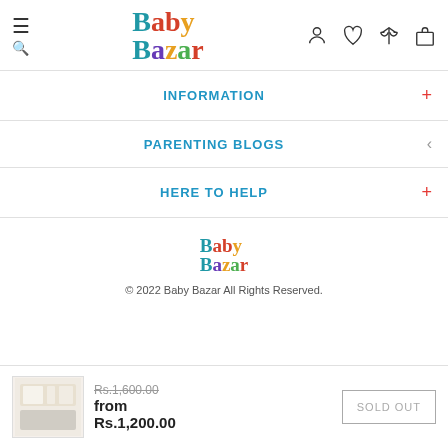[Figure (logo): Baby Bazar colorful logo in header, large size]
INFORMATION
PARENTING BLOGS
HERE TO HELP
[Figure (logo): Baby Bazar colorful logo in footer, smaller size]
© 2022 Baby Bazar All Rights Reserved.
[Figure (photo): Product thumbnail image of baby clothing items]
Rs.1,600.00
from
Rs.1,200.00
SOLD OUT